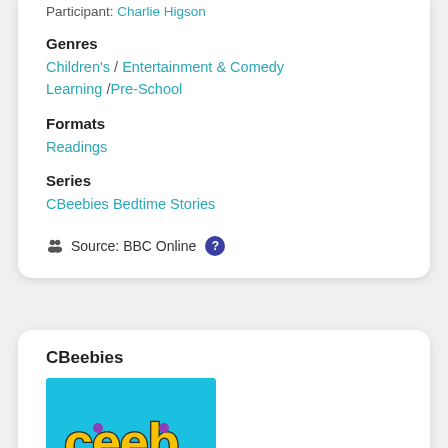Participant: Charlie Higson
Genres
Children's / Entertainment & Comedy Learning / Pre-School
Formats
Readings
Series
CBeebies Bedtime Stories
Source: BBC Online
CBeebies
[Figure (photo): CBeebies logo on light blue background, partially visible at bottom of page]